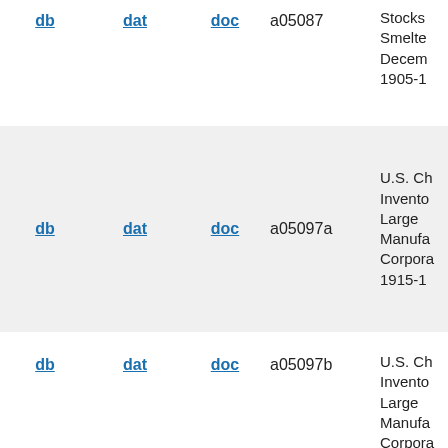db  dat  doc  a05087  Stocks Smelte Decem 1905-1
db  dat  doc  a05097a  U.S. Ch Invento Large Manufa Corpora 1915-1
db  dat  doc  a05097b  U.S. Ch Invento Large Manufa Corpora